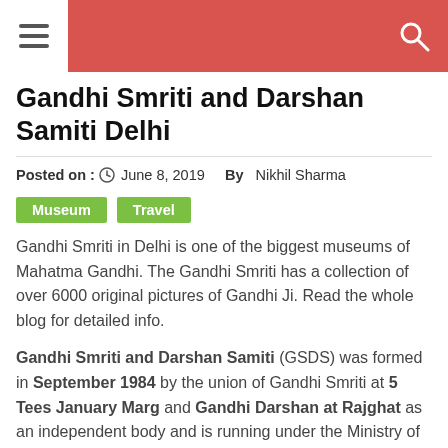[hamburger menu icon] [search icon]
Gandhi Smriti and Darshan Samiti Delhi
Posted on : June 8, 2019   By Nikhil Sharma
Museum
Travel
Gandhi Smriti in Delhi is one of the biggest museums of Mahatma Gandhi. The Gandhi Smriti has a collection of over 6000 original pictures of Gandhi Ji. Read the whole blog for detailed info.
Gandhi Smriti and Darshan Samiti (GSDS) was formed in September 1984 by the union of Gandhi Smriti at 5 Tees January Marg and Gandhi Darshan at Rajghat as an independent body and is running under the Ministry of